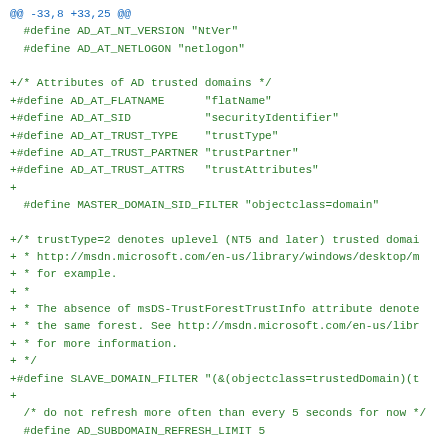@@ -33,8 +33,25 @@
  #define AD_AT_NT_VERSION "NtVer"
  #define AD_AT_NETLOGON "netlogon"

+/* Attributes of AD trusted domains */
+#define AD_AT_FLATNAME      "flatName"
+#define AD_AT_SID           "securityIdentifier"
+#define AD_AT_TRUST_TYPE    "trustType"
+#define AD_AT_TRUST_PARTNER "trustPartner"
+#define AD_AT_TRUST_ATTRS   "trustAttributes"
+
  #define MASTER_DOMAIN_SID_FILTER "objectclass=domain"

+/* trustType=2 denotes uplevel (NT5 and later) trusted domai
+ * http://msdn.microsoft.com/en-us/library/windows/desktop/m
+ * for example.
+ *
+ * The absence of msDS-TrustForestTrustInfo attribute denote
+ * the same forest. See http://msdn.microsoft.com/en-us/libr
+ * for more information.
+ */
+#define SLAVE_DOMAIN_FILTER "(&(objectclass=trustedDomain)(t
+
  /* do not refresh more often than every 5 seconds for now */
  #define AD_SUBDOMAIN_REFRESH_LIMIT 5